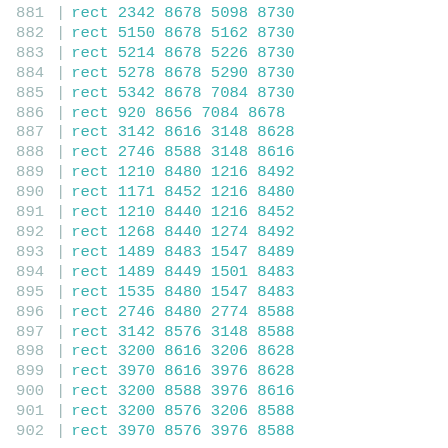| line | command | v1 | v2 | v3 | v4 |
| --- | --- | --- | --- | --- | --- |
| 881 | rect | 2342 | 8678 | 5098 | 8730 |
| 882 | rect | 5150 | 8678 | 5162 | 8730 |
| 883 | rect | 5214 | 8678 | 5226 | 8730 |
| 884 | rect | 5278 | 8678 | 5290 | 8730 |
| 885 | rect | 5342 | 8678 | 7084 | 8730 |
| 886 | rect | 920 | 8656 | 7084 | 8678 |
| 887 | rect | 3142 | 8616 | 3148 | 8628 |
| 888 | rect | 2746 | 8588 | 3148 | 8616 |
| 889 | rect | 1210 | 8480 | 1216 | 8492 |
| 890 | rect | 1171 | 8452 | 1216 | 8480 |
| 891 | rect | 1210 | 8440 | 1216 | 8452 |
| 892 | rect | 1268 | 8440 | 1274 | 8492 |
| 893 | rect | 1489 | 8483 | 1547 | 8489 |
| 894 | rect | 1489 | 8449 | 1501 | 8483 |
| 895 | rect | 1535 | 8480 | 1547 | 8483 |
| 896 | rect | 2746 | 8480 | 2774 | 8588 |
| 897 | rect | 3142 | 8576 | 3148 | 8588 |
| 898 | rect | 3200 | 8616 | 3206 | 8628 |
| 899 | rect | 3970 | 8616 | 3976 | 8628 |
| 900 | rect | 3200 | 8588 | 3976 | 8616 |
| 901 | rect | 3200 | 8576 | 3206 | 8588 |
| 902 | rect | 3970 | 8576 | 3976 | 8588 |